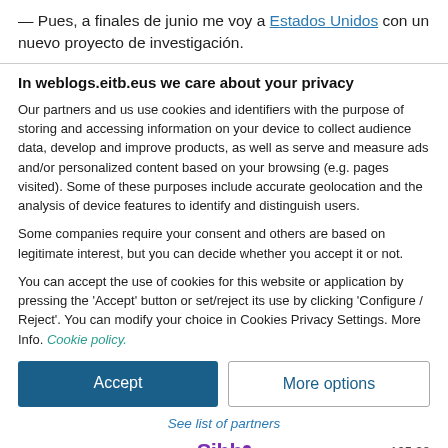— Pues, a finales de junio me voy a Estados Unidos con un nuevo proyecto de investigación.
In weblogs.eitb.eus we care about your privacy
Our partners and us use cookies and identifiers with the purpose of storing and accessing information on your device to collect audience data, develop and improve products, as well as serve and measure ads and/or personalized content based on your browsing (e.g. pages visited). Some of these purposes include accurate geolocation and the analysis of device features to identify and distinguish users.
Some companies require your consent and others are based on legitimate interest, but you can decide whether you accept it or not.
You can accept the use of cookies for this website or application by pressing the 'Accept' button or set/reject its use by clicking 'Configure / Reject'. You can modify your choice in Cookies Privacy Settings. More Info. Cookie policy.
Accept
More options
See list of partners
[Figure (logo): Sibb logo with purple text and dot]
ver 125.38